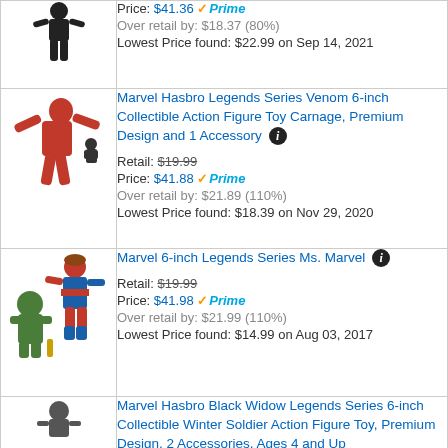| Image | Product Info |
| --- | --- |
| [image: action figure] | Price: $41.36 Prime
Over retail by: $18.37 (80%)
Lowest Price found: $22.99 on Sep 14, 2021 |
| [image: Carnage action figure] | Marvel Hasbro Legends Series Venom 6-inch Collectible Action Figure Toy Carnage, Premium Design and 1 Accessory
Retail: $19.99
Price: $41.88 Prime
Over retail by: $21.89 (110%)
Lowest Price found: $18.39 on Nov 29, 2020 |
| [image: Ms. Marvel action figure] | Marvel 6-inch Legends Series Ms. Marvel
Retail: $19.99
Price: $41.98 Prime
Over retail by: $21.99 (110%)
Lowest Price found: $14.99 on Aug 03, 2017 |
| [image: Black Widow action figure] | Marvel Hasbro Black Widow Legends Series 6-inch Collectible Winter Soldier Action Figure Toy, Premium Design, 2 Accessories, Ages 4 and Up |